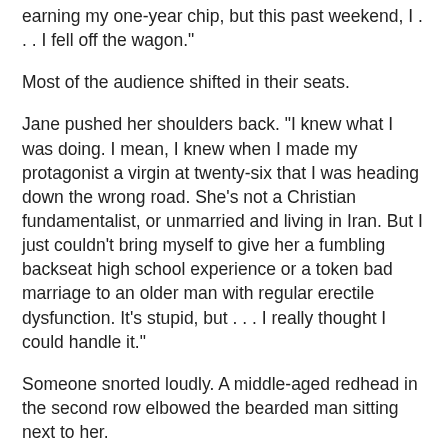earning my one-year chip, but this past weekend, I . . . I fell off the wagon."
Most of the audience shifted in their seats.
Jane pushed her shoulders back. "I knew what I was doing. I mean, I knew when I made my protagonist a virgin at twenty-six that I was heading down the wrong road. She's not a Christian fundamentalist, or unmarried and living in Iran. But I just couldn't bring myself to give her a fumbling backseat high school experience or a token bad marriage to an older man with regular erectile dysfunction. It's stupid, but . . . I really thought I could handle it."
Someone snorted loudly. A middle-aged redhead in the second row elbowed the bearded man sitting next to her.
"I kept writing, and made her beautiful and built and brilliant . . ." Jane stopped and covered her face with a trembling hand.
The redhead sighed. "The three killer B's."